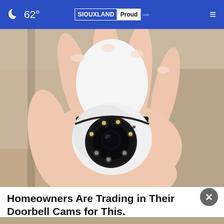62° SIOUXLAND Proud
[Figure (photo): A hand holding a white dome-shaped security camera with multiple LEDs around the lens, resembling a light bulb form factor.]
Homeowners Are Trading in Their Doorbell Cams for This.
Kelli...
Dine-in  Curbside pickup